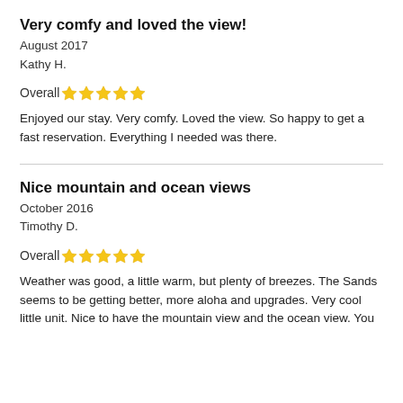Very comfy and loved the view!
August 2017
Kathy H.
Overall ★★★★★
Enjoyed our stay. Very comfy. Loved the view. So happy to get a fast reservation. Everything I needed was there.
Nice mountain and ocean views
October 2016
Timothy D.
Overall ★★★★★
Weather was good, a little warm, but plenty of breezes. The Sands seems to be getting better, more aloha and upgrades. Very cool little unit. Nice to have the mountain view and the ocean view. You